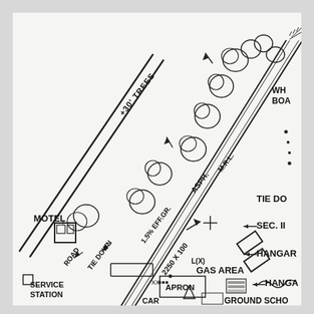[Figure (map): Hand-drawn airport/airfield diagram showing a diagonal runway (asphalt, 2250x100ft, 1.5% EFF.GR., M.R.L.), trees (30ft), tie-down area, road, motel, service station, apron, car area, office, gas area, hangars, SEC.11 notation, white board (WH BOA), and ground school labels. Runway runs NE-SW diagonally. Various structures labeled around the airfield.]